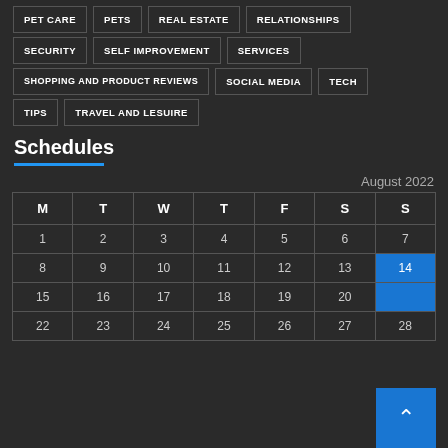PET CARE
PETS
REAL ESTATE
RELATIONSHIPS
SECURITY
SELF IMPROVEMENT
SERVICES
SHOPPING AND PRODUCT REVIEWS
SOCIAL MEDIA
TECH
TIPS
TRAVEL AND LESUIRE
Schedules
August 2022
| M | T | W | T | F | S | S |
| --- | --- | --- | --- | --- | --- | --- |
| 1 | 2 | 3 | 4 | 5 | 6 | 7 |
| 8 | 9 | 10 | 11 | 12 | 13 | 14 |
| 15 | 16 | 17 | 18 | 19 | 20 |  |
| 22 | 23 | 24 | 25 | 26 | 27 | 28 |